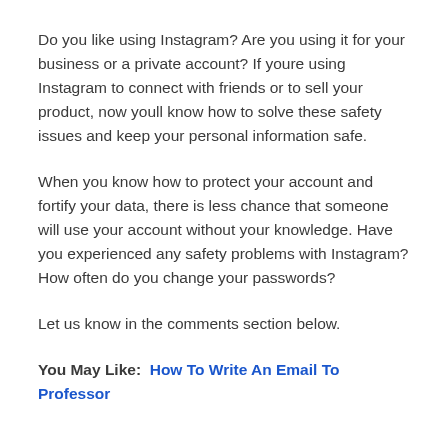Do you like using Instagram? Are you using it for your business or a private account? If youre using Instagram to connect with friends or to sell your product, now youll know how to solve these safety issues and keep your personal information safe.
When you know how to protect your account and fortify your data, there is less chance that someone will use your account without your knowledge. Have you experienced any safety problems with Instagram? How often do you change your passwords?
Let us know in the comments section below.
You May Like:  How To Write An Email To Professor